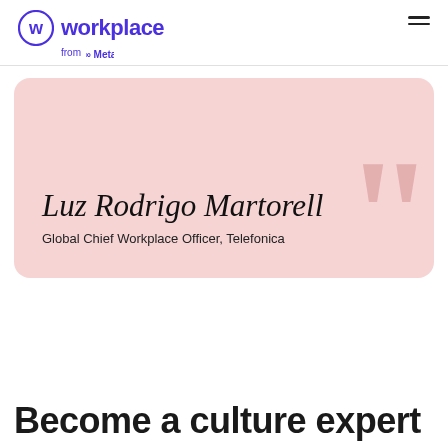workplace from Meta
[Figure (illustration): Pink card with name 'Luz Rodrigo Martorell' in cursive/italic font, subtitle 'Global Chief Workplace Officer, Telefonica', and decorative large quotation marks in the background]
Become a culture expert